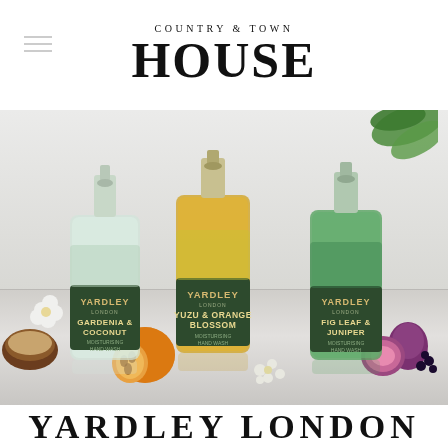COUNTRY & TOWN HOUSE
[Figure (photo): Three Yardley London moisturising hand wash bottles — Gardenia & Coconut (left, clear bottle with green floral label), Yuzu & Orange Blossom (center, amber/yellow liquid with yellow floral label), and Fig Leaf & Juniper (right, green liquid with dark green label) — displayed on a marble surface surrounded by fresh fruits and flowers including coconut, orange fruit, figs, and green leaves.]
YARDLEY LONDON